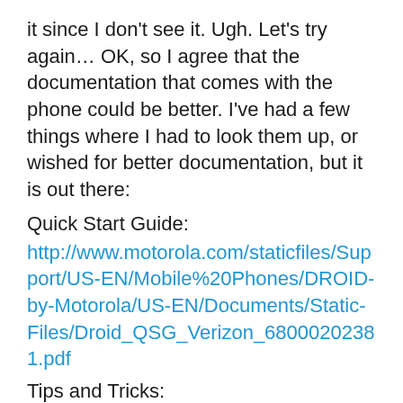it since I don't see it. Ugh. Let's try again… OK, so I agree that the documentation that comes with the phone could be better. I've had a few things where I had to look them up, or wished for better documentation, but it is out there:
Quick Start Guide:
http://www.motorola.com/staticfiles/Support/US-EN/Mobile%20Phones/DROID-by-Motorola/US-EN/Documents/Static-Files/Droid_QSG_Verizon_68000202381.pdf
Tips and Tricks:
http://www.motorola.com/staticfiles/Support/US-EN/Mobile%20Phones/DROID-by-Motorola/US-EN/Documents/Static-Files/DROID_tips%20and%20tricks_EngVZW